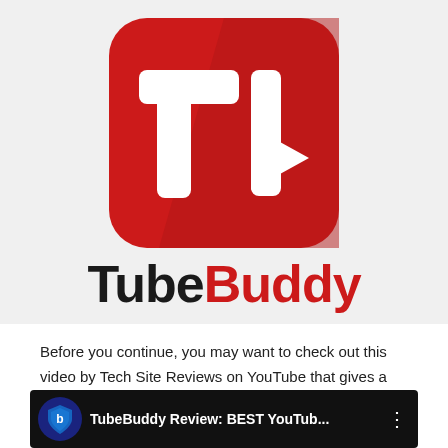[Figure (logo): TubeBuddy logo: red rounded-square icon with white 'tb' letters and a play button symbol, with 'TubeBuddy' wordmark below in black and red]
Before you continue, you may want to check out this video by Tech Site Reviews on YouTube that gives a quick review. After, you'll want to read the rest of our article for a more comprehensive review of TubeBuddy.
[Figure (screenshot): YouTube video thumbnail for 'TubeBuddy Review: BEST YouTub...' with a blue shield icon on dark background]